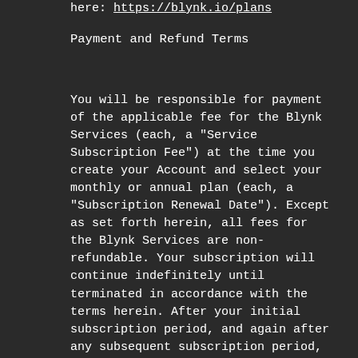here: https://blynk.io/plans
Payment and Refund Terms
You will be responsible for payment of the applicable fee for the Blynk Services (each, a "Service Subscription Fee") at the time you create your Account and select your monthly or annual plan (each, a "Subscription Renewal Date"). Except as set forth herein, all fees for the Blynk Services are non-refundable. Your subscription will continue indefinitely until terminated in accordance with the terms herein. After your initial subscription period, and again after any subsequent subscription period, your subscription will automatically commence on the first day following the end of such period (each, a "Subscription Renewal Date") and continue for an equivalent period, at Blynk's then-current price for such